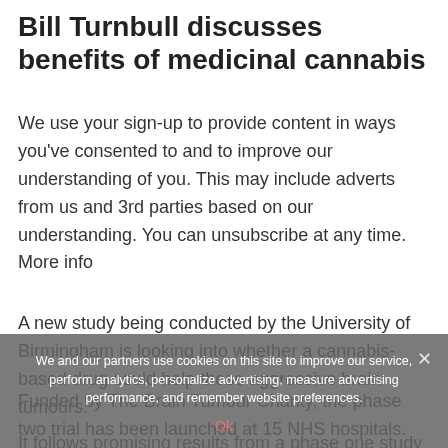Bill Turnbull discusses benefits of medicinal cannabis
We use your sign-up to provide content in ways you've consented to and to improve our understanding of you. This may include adverts from us and 3rd parties based on our understanding. You can unsubscribe at any time. More info
A new study being conducted by the University of Birmingham is looking into whether a cannabis-based drug could help those aggressive brain tumours.
Funded by The Brain Tumour Charity, the phase two trial has been launched at 15 NHS hospitals.
We and our partners use cookies on this site to improve our service, perform analytics, personalize advertising, measure advertising performance, and remember website preferences.
Ok
It follows promising results from a phase one study in 27